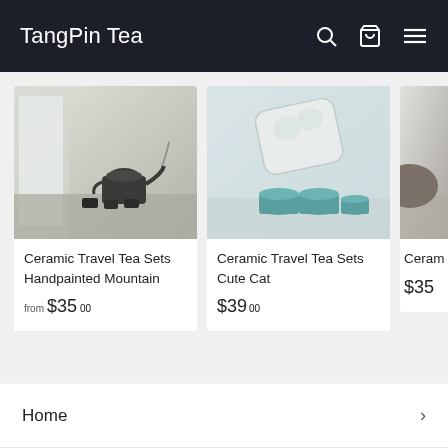TangPin Tea
[Figure (photo): Product image of Ceramic Travel Tea Sets Handpainted Mountain — dark ceramic teaware on a table with natural light]
Ceramic Travel Tea Sets Handpainted Mountain
from $35.00
[Figure (photo): Product image of Ceramic Travel Tea Sets Cute Cat — teal ceramic cups with a rectangular tray/lid]
Ceramic Travel Tea Sets Cute Cat
$39.00
[Figure (photo): Partial product image of Ceramic Travel Tea Sets — partially cropped on right edge]
Ceram... Sets w...
$35.00
Home